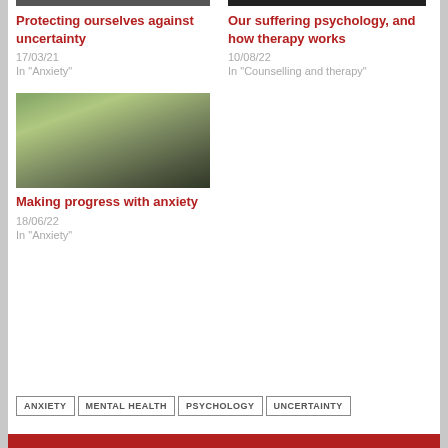[Figure (photo): Top image partial, left column (cropped top)]
[Figure (photo): Top image partial, right column (cropped top)]
Protecting ourselves against uncertainty
17/03/21
In "Anxiety"
Our suffering psychology, and how therapy works
10/08/22
In "Counselling and therapy"
[Figure (photo): People running/exercising outdoors]
Making progress with anxiety
18/06/22
In "Anxiety"
ANXIETY
MENTAL HEALTH
PSYCHOLOGY
UNCERTAINTY